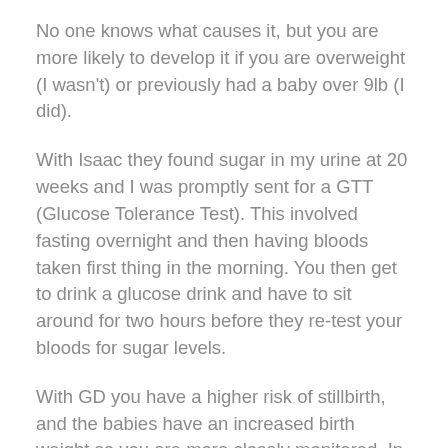No one knows what causes it, but you are more likely to develop it if you are overweight (I wasn't) or previously had a baby over 9lb (I did).
With Isaac they found sugar in my urine at 20 weeks and I was promptly sent for a GTT (Glucose Tolerance Test). This involved fasting overnight and then having bloods taken first thing in the morning. You then get to drink a glucose drink and have to sit around for two hours before they re-test your bloods for sugar levels.
With GD you have a higher risk of stillbirth, and the babies have an increased birth weight so you are more closely monitored. In fact, I was seen every two weeks and scanned every four with both my pregnancies.
I got to know the ante natal staff really well and they were